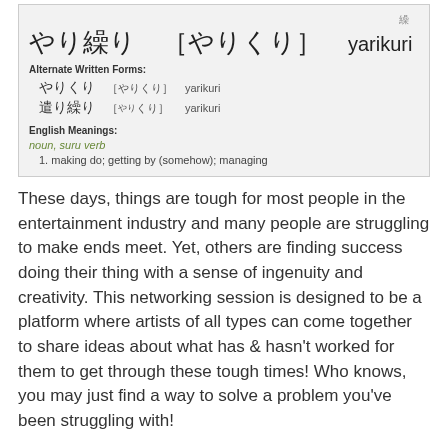[Figure (other): Japanese dictionary entry box for やり繰り (yarikuri) showing alternate written forms and English meanings: noun, suru verb — making do; getting by (somehow); managing]
These days, things are tough for most people in the entertainment industry and many people are struggling to make ends meet. Yet, others are finding success doing their thing with a sense of ingenuity and creativity. This networking session is designed to be a platform where artists of all types can come together to share ideas about what has & hasn't worked for them to get through these tough times! Who knows, you may just find a way to solve a problem you've been struggling with!
Webinars